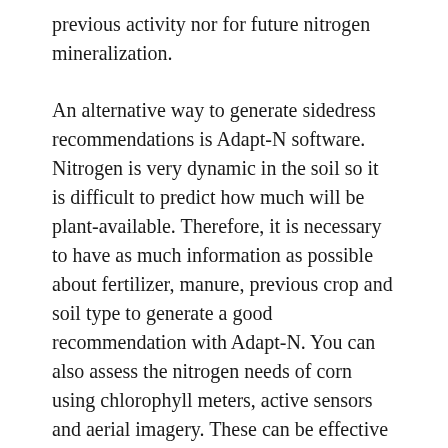previous activity nor for future nitrogen mineralization.
An alternative way to generate sidedress recommendations is Adapt-N software. Nitrogen is very dynamic in the soil so it is difficult to predict how much will be plant-available. Therefore, it is necessary to have as much information as possible about fertilizer, manure, previous crop and soil type to generate a good recommendation with Adapt-N. You can also assess the nitrogen needs of corn using chlorophyll meters, active sensors and aerial imagery. These can be effective when used properly, and local agricultural consultants can provide these services.